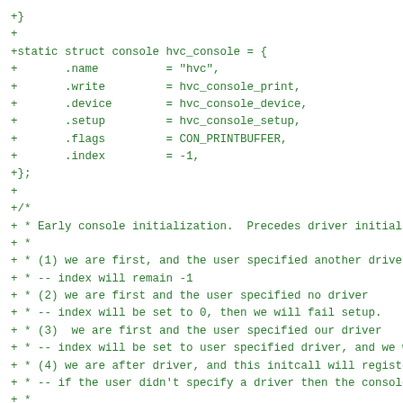+}
+
+static struct console hvc_console = {
+       .name          = "hvc",
+       .write         = hvc_console_print,
+       .device        = hvc_console_device,
+       .setup         = hvc_console_setup,
+       .flags         = CON_PRINTBUFFER,
+       .index         = -1,
+};
+
+/*
+ * Early console initialization.  Precedes driver initializa
+ *
+ * (1) we are first, and the user specified another driver
+ * -- index will remain -1
+ * (2) we are first and the user specified no driver
+ * -- index will be set to 0, then we will fail setup.
+ * (3)  we are first and the user specified our driver
+ * -- index will be set to user specified driver, and we wil
+ * (4) we are after driver, and this initcall will register
+ * -- if the user didn't specify a driver then the console w
+ *
+ * Note that for cases 2 and 3, we will match later when the
+ * calls hvc_instantiate() and call register again.